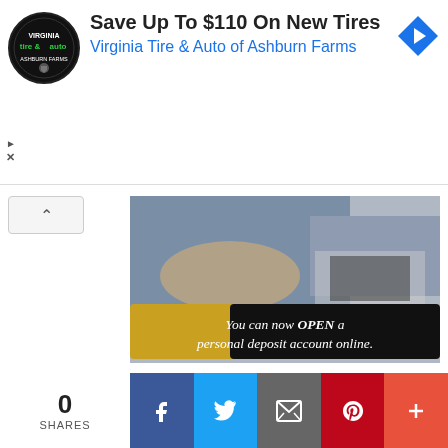[Figure (infographic): Advertisement banner: Virginia Tire & Auto logo (circular black badge), headline 'Save Up To $110 On New Tires', subheading 'Virginia Tire & Auto of Ashburn Farms', blue diamond navigation/map arrow icon on right. Small play and close (X) buttons bottom-left. Below: collapse/chevron button. Bank advertisement image showing person at laptop with text 'You can now OPEN a personal deposit account online.' on gold/black banner.]
[Figure (infographic): Social share bar at bottom: '0 SHARES' count on left, then Facebook (blue), Twitter (light blue), Email (dark grey), Pinterest (red), More/Plus (orange-red) share buttons.]